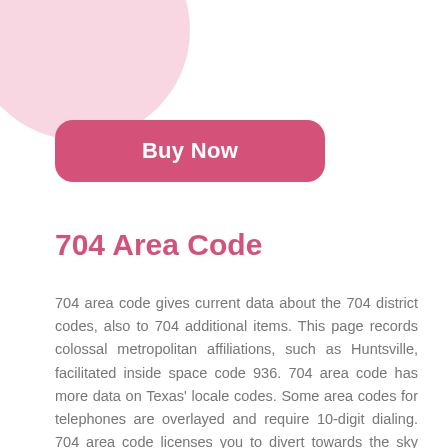[Figure (illustration): Pink blob/circle decorative shape in top-left corner]
[Figure (illustration): Pink rounded rectangle button labeled 'Buy Now']
704 Area Code
704 area code gives current data about the 704 district codes, also to 704 additional items. This page records colossal metropolitan affiliations, such as Huntsville, facilitated inside space code 936. 704 area code has more data on Texas' locale codes. Some area codes for telephones are overlayed and require 10-digit dialing. 704 area code licenses you to divert towards the sky from one spot and will give all district codes.